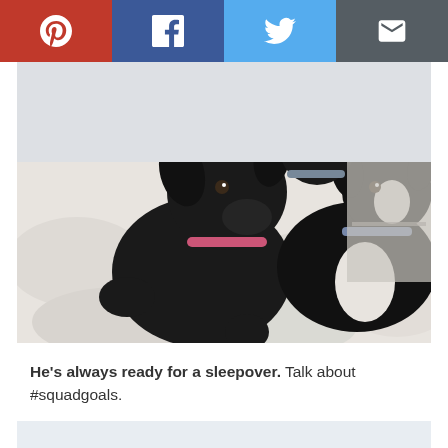[Figure (infographic): Social sharing bar with four buttons: Pinterest (red), Facebook (dark blue), Twitter (light blue), Email (dark gray), each with a white icon]
[Figure (photo): Three black dogs sitting on a white tufted bedspread/duvet. One dog has a pink collar. A dresser is visible in the background.]
He's always ready for a sleepover. Talk about #squadgoals.
[Figure (photo): Partial view of a beach or ocean scene with water and light blue/white tones, cropped at top.]